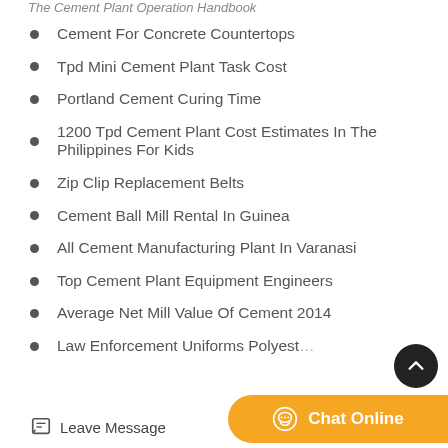The Cement Plant Operation Handbook
Cement For Concrete Countertops
Tpd Mini Cement Plant Task Cost
Portland Cement Curing Time
1200 Tpd Cement Plant Cost Estimates In The Philippines For Kids
Zip Clip Replacement Belts
Cement Ball Mill Rental In Guinea
All Cement Manufacturing Plant In Varanasi
Top Cement Plant Equipment Engineers
Average Net Mill Value Of Cement 2014
Law Enforcement Uniforms Polyest…